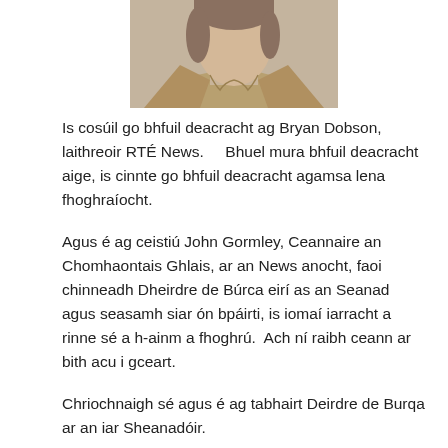[Figure (photo): Portrait photo of a person wearing a beige/tan blazer, cropped at the shoulders, visible from chest up]
Is cosúil go bhfuil deacracht ag Bryan Dobson, laithreoir RTÉ News.    Bhuel mura bhfuil deacracht aige, is cinnte go bhfuil deacracht agamsa lena fhoghraíocht.
Agus é ag ceistiú John Gormley, Ceannaire an Chomhaontais Ghlais, ar an News anocht, faoi chinneadh Dheirdre de Búrca eirí as an Seanad agus seasamh siar ón bpáirti, is iomaí iarracht a rinne sé a h-ainm a fhoghrú.  Ach ní raibh ceann ar bith acu i gceart.
Chriochnaigh sé agus é ag tabhairt Deirdre de Burqa ar an iar Sheanadóir.
Creidimse nár cheart go mbeadh duine nach bhfuil in ann foghrú mar is ceart a dhéanamh ar ainm  an phríomh phearsa i scéal mór an lae ag léamh na nuachta, gan bacadh le bheith